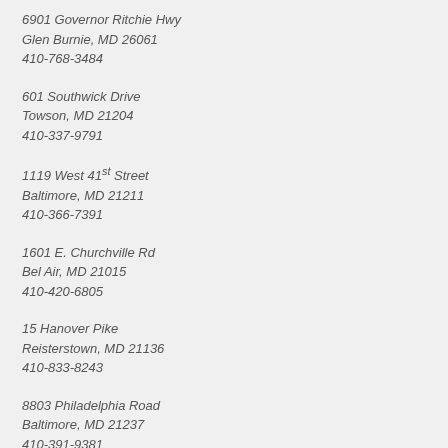6901 Governor Ritchie Hwy
Glen Burnie, MD 26061
410-768-3484
601 Southwick Drive
Towson, MD 21204
410-337-9791
1119 West 41st Street
Baltimore, MD 21211
410-366-7391
1601 E. Churchville Rd
Bel Air, MD 21015
410-420-6805
15 Hanover Pike
Reisterstown, MD 21136
410-833-8243
8803 Philadelphia Road
Baltimore, MD 21237
410-391-9381